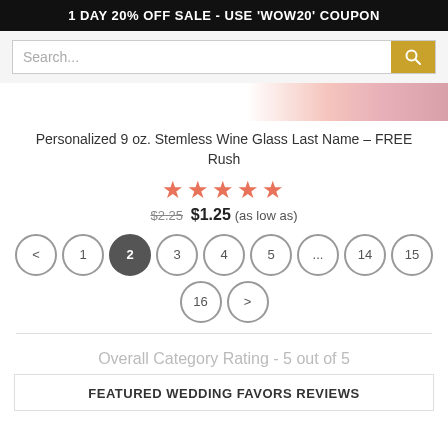1 DAY 20% OFF SALE - USE 'WOW20' COUPON
Search...
[Figure (photo): Product image strip showing wine glass with floral background]
Personalized 9 oz. Stemless Wine Glass Last Name – FREE Rush
[Figure (other): Five orange/red star rating icons]
$2.25  $1.25 (as low as)
[Figure (other): Pagination controls: < 1 2 3 4 5 ... 14 15 on first row, 16 > on second row. Page 2 is active (filled circle).]
Overall Category Rating - 5 out of 5
FEATURED WEDDING FAVORS REVIEWS